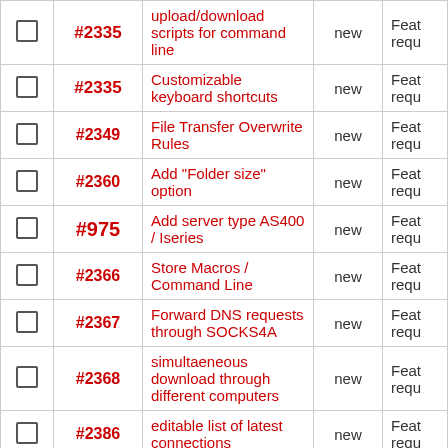|  | # | Description | Status | Type |
| --- | --- | --- | --- | --- |
| ☐ | #2335(partial) | upload/download scripts for command line | new | Feat requ |
| ☐ | #2335 | Customizable keyboard shortcuts | new | Feat requ |
| ☐ | #2349 | File Transfer Overwrite Rules | new | Feat requ |
| ☐ | #2360 | Add "Folder size" option | new | Feat requ |
| ☐ | #975 | Add server type AS400 / Iseries | new | Feat requ |
| ☐ | #2366 | Store Macros / Command Line | new | Feat requ |
| ☐ | #2367 | Forward DNS requests through SOCKS4A | new | Feat requ |
| ☐ | #2368 | simultaeneous download through different computers | new | Feat requ |
| ☐ | #2386 | editable list of latest connections | new | Feat requ |
| ☐ | #2389 | Shortcut to hide | new | Feat requ |
| ☐ | #2393 | windows explorer navigation | new | Feat requ |
| ☐ | #2399 | (Re)store permissions | new | Feat |